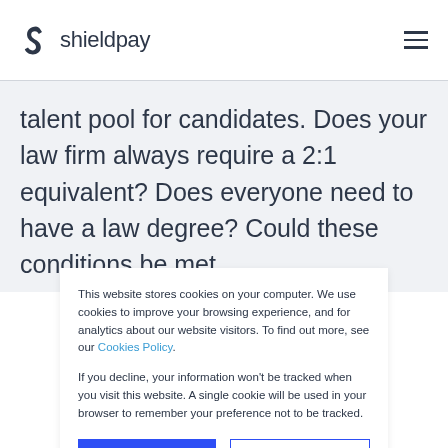shieldpay
talent pool for candidates. Does your law firm always require a 2:1 equivalent? Does everyone need to have a law degree? Could these conditions be met
This website stores cookies on your computer. We use cookies to improve your browsing experience, and for analytics about our website visitors. To find out more, see our Cookies Policy.

If you decline, your information won't be tracked when you visit this website. A single cookie will be used in your browser to remember your preference not to be tracked.